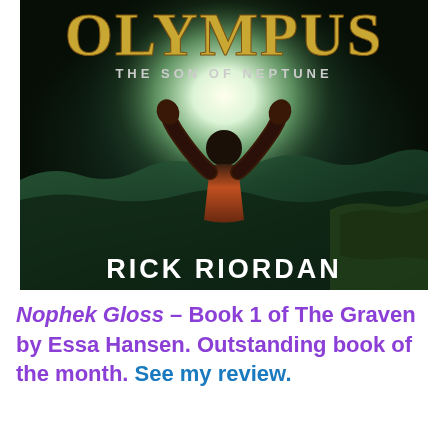[Figure (illustration): Book cover of 'The Heroes of Olympus: The Son of Neptune' by Rick Riordan. Shows a figure with arms raised facing a dramatic seascape with glowing light, teal/dark green ocean waves, and golden title text. Author name at bottom in white.]
Nophek Gloss – Book 1 of The Graven by Essa Hansen. Outstanding book of the month. See my review.